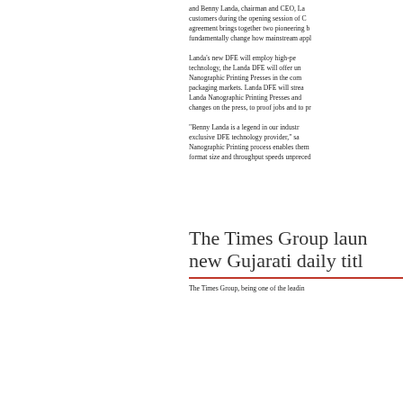and Benny Landa, chairman and CEO, La... customers during the opening session of C... agreement brings together two pioneering b... fundamentally change how mainstream appl...
Landa's new DFE will employ high-pe... technology, the Landa DFE will offer un... Nanographic Printing Presses in the com... packaging markets. Landa DFE will strea... Landa Nanographic Printing Presses and ... changes on the press, to proof jobs and to pr...
“Benny Landa is a legend in our industr... exclusive DFE technology provider,” sa... Nanographic Printing process enables them ... format size and throughput speeds unpreced...
The Times Group laun new Gujarati daily titl
The Times Group, being one of the leadin...